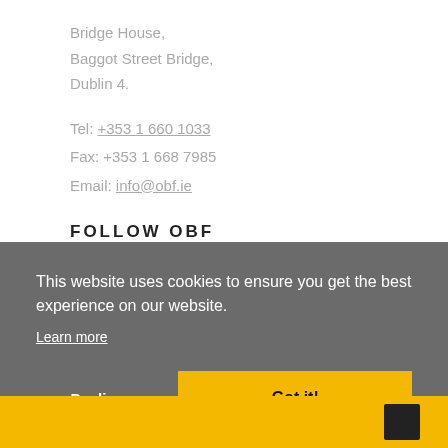Bridge House,
Baggot Street Bridge,
Dublin 4.
Tel: +353 1 660 1033
Fax: +353 1 668 7985
Email: info@obf.ie
FOLLOW OBF
This website uses cookies to ensure you get the best experience on our website.
Learn more
Decline
Got it!